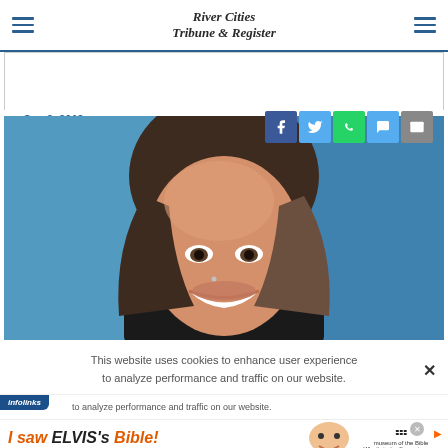River Cities Tribune & Register
Sep 2, 2018
[Figure (screenshot): Social share buttons: Facebook, Twitter, WhatsApp, Messenger, Email]
[Figure (photo): Close-up portrait of a smiling woman with long brown-blonde hair against a blue background]
This website uses cookies to enhance user experience and to analyze performance and traffic on our website.
[Figure (screenshot): Infolinks advertisement banner: 'I saw ELVIS's Bible! - museum of the Bible, What's in it will surprise you.' with image of smiling child]